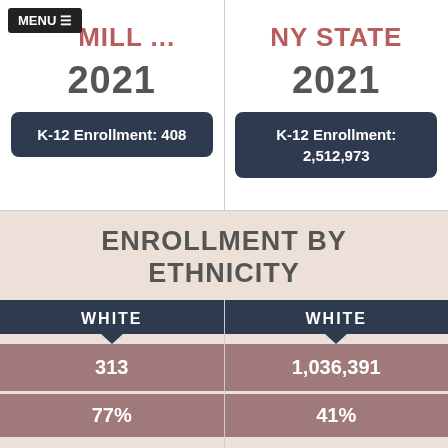RED MILL ...
NY STATE
2021
2021
K-12 Enrollment: 408
K-12 Enrollment: 2,512,973
ENROLLMENT BY ETHNICITY
WHITE
WHITE
313
1,036,391
77%
41%